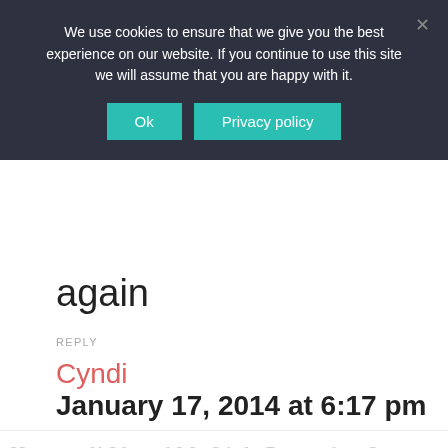We use cookies to ensure that we give you the best experience on our website. If you continue to use this site we will assume that you are happy with it.
again
REPLY
Cyndi
January 17, 2014 at 6:17 pm
How cool! I loved My Little Pony when I was a kid. The funny thing is